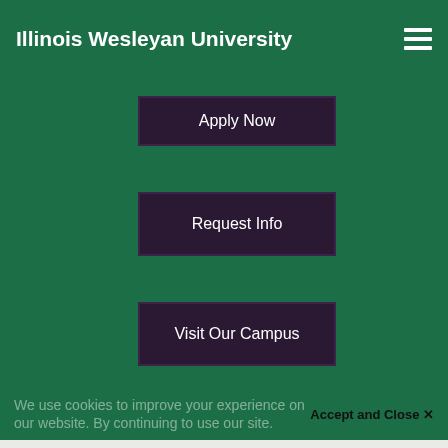Illinois Wesleyan University
Apply Now
Request Info
Visit Our Campus
We use cookies to improve your experience on our website. By continuing to use our site.
Accept and Close ✕
Your browser settings do not allow cross-site tracking for advertising. Click on this page to allow AdRoll to use cross-site tracking to tailor ads to you. Learn more or opt out of this AdRoll tracking by clicking here. This message only appears once.